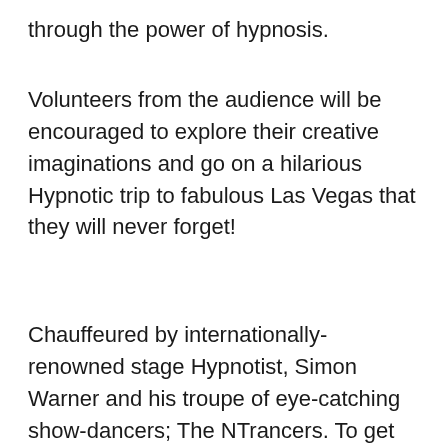through the power of hypnosis.
Volunteers from the audience will be encouraged to explore their creative imaginations and go on a hilarious Hypnotic trip to fabulous Las Vegas that they will never forget!
Chauffeured by internationally-renowned stage Hypnotist, Simon Warner and his troupe of eye-catching show-dancers; The NTrancers. To get an idea of how fabulous Viva Hypnosis looks and feels… simply watch this 2 minute trailer here: